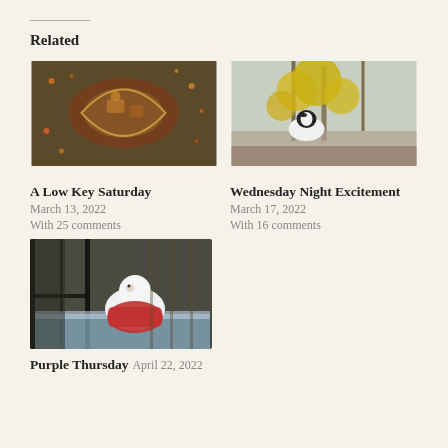Related
[Figure (photo): Close-up photo of an ornate embroidered or painted textile featuring a leaf shape with decorative animal figures on a dark background with colorful dotted patterns]
[Figure (photo): A black and white border collie dog sitting in front of yellow forsythia shrubs and bare trees outdoors]
A Low Key Saturday
March 13, 2022
With 25 comments
Wednesday Night Excitement
March 17, 2022
With 16 comments
[Figure (photo): A white animal (possibly a cat or small dog) wearing a red outfit, sitting in or near a black metal cage/crate]
Purple Thursday
April 22, 2022